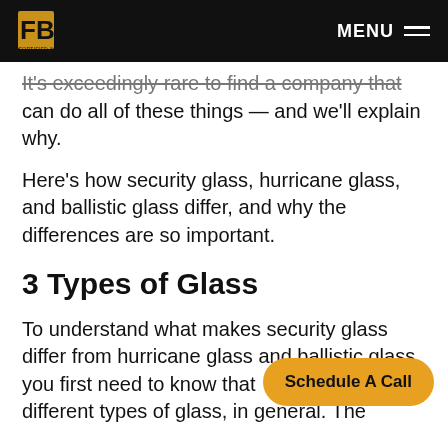FBS — Fortified & Ballistic Security | MENU
It's exceedingly rare to find a company that can do all of these things — and we'll explain why.
Here's how security glass, hurricane glass, and ballistic glass differ, and why the differences are so important.
3 Types of Glass
To understand what makes security glass differ from hurricane glass and ballistic glass, you first need to know that different types of glass, in general. The